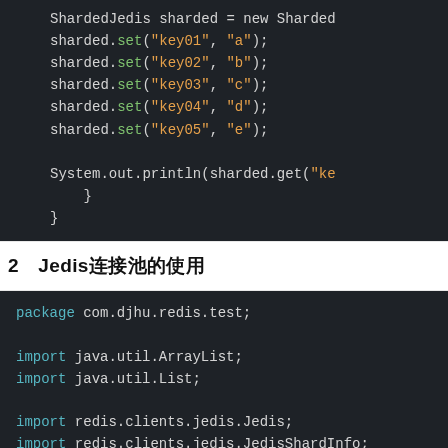[Figure (screenshot): Code block showing ShardedJedis set operations and System.out.println]
2　Jedis连接池的使用
[Figure (screenshot): Code block showing Java package, imports for ArrayList, List, Jedis, JedisShardInfo, ShardedJedis, ShardedJedisPool, JedisPoolConfig, and Hashing]